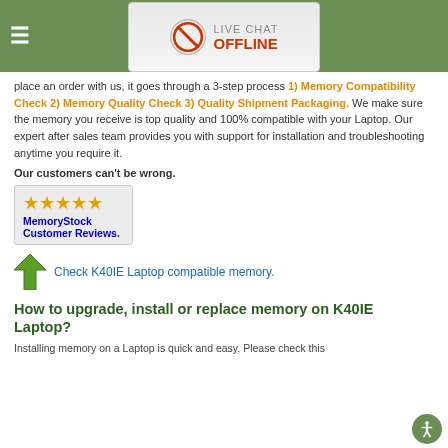LIVE CHAT OFFLINE
place an order with us, it goes through a 3-step process 1) Memory Compatibility Check 2) Memory Quality Check 3) Quality Shipment Packaging. We make sure the memory you receive is top quality and 100% compatible with your Laptop. Our expert after sales team provides you with support for installation and troubleshooting anytime you require it.
Our customers can't be wrong.
[Figure (other): Five gold stars with MemoryStock Customer Reviews. badge]
Check K40IE Laptop compatible memory.
How to upgrade, install or replace memory on K40IE Laptop?
Installing memory on a Laptop is quick and easy. Please check this